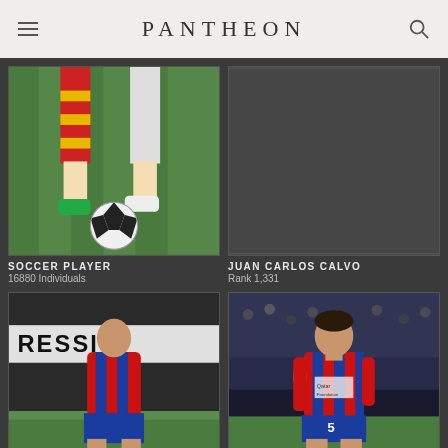PANTHEON
[Figure (photo): Soccer player legs with red and yellow striped socks dribbling a ball on grass]
SOCCER PLAYER
16880 Individuals
[Figure (photo): Dark/empty placeholder image for Juan Carlos Calvo]
JUAN CARLOS CALVO
Rank 1,331
[Figure (photo): Munir El Haddadi in FC Barcelona red and blue striped kit running on pitch with sponsor banner in background]
MUNIR EL HADDADI
Association Football Player (Born 1995)
[Figure (photo): Carles Puyol in FC Barcelona red and blue striped kit with yellow armband running]
CARLES PUYOL
Spanish Footballer